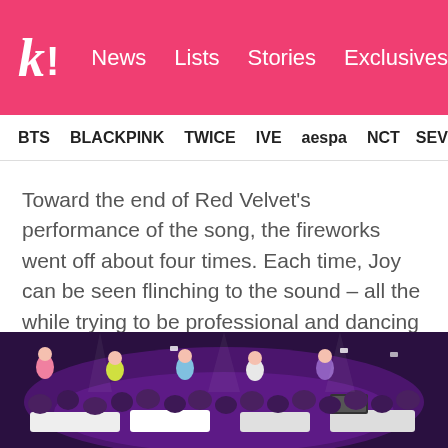k! News Lists Stories Exclusives
BTS BLACKPINK TWICE IVE aespa NCT SEVE
Toward the end of Red Velvet's performance of the song, the fireworks went off about four times. Each time, Joy can be seen flinching to the sound – all the while trying to be professional and dancing to the music. By the third fire, Joy has her hand over her face and looks completely distressed.
[Figure (photo): Concert crowd scene with audience members cheering, performers on stage with purple stage lighting]